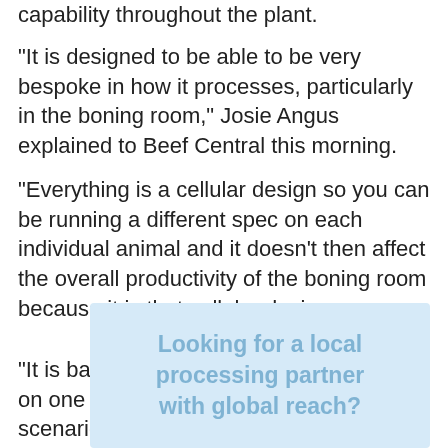capability throughout the plant.
“It is designed to be able to be very bespoke in how it processes, particularly in the boning room,” Josie Angus explained to Beef Central this morning.
“Everything is a cellular design so you can be running a different spec on each individual animal and it doesn’t then affect the overall productivity of the boning room because it is that cellular design.
“It is basically one team of people working on one animal rather than a chain scenario.”
[Figure (other): Advertisement box with light blue background containing bold text: Looking for a local processing partner with global reach?]